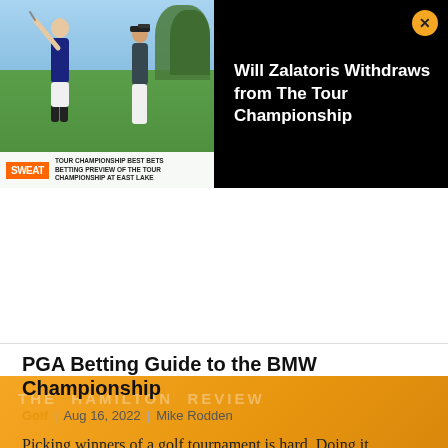[Figure (screenshot): Video player showing two golfers on a course with SWEAT TV bar overlay, and a black panel on right with text 'Will Zalatoris Withdraws from The Tour Championship' and an orange close button]
[Figure (illustration): Orange podcast banner with white text 'FANTASY PODCAST' in large bold letters and a white horizontal rule]
PGA Betting Guide to the BMW Championship
Golf | Aug 16, 2022 | Mike Rodden
Picking winners of a golf tournament is hard. Doing it consistently is downright impossible. But finding value is something all bettors must practice in order to give